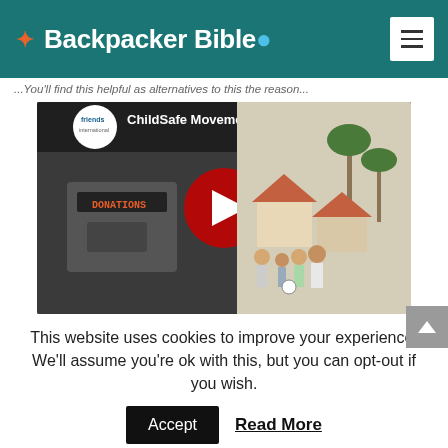[Figure (logo): Backpacker Bible logo with star icon on teal header background]
You'll find this helpful as alternatives to this the reason...
[Figure (screenshot): YouTube video embed thumbnail for ChildSafe Movement - Don't ... with Friends International logo and animated illustration]
This website uses cookies to improve your experience. We'll assume you're ok with this, but you can opt-out if you wish.
Accept   Read More